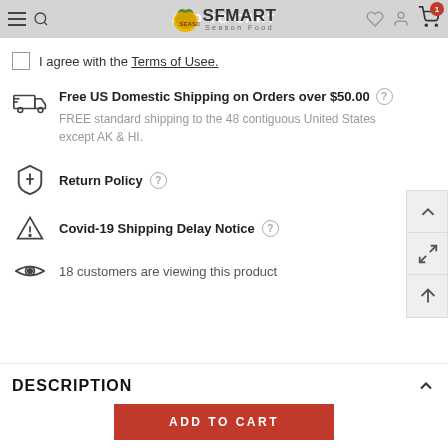ADD TO CART — SFMart Season Food header navigation
I agree with the Terms of Usee.
Free US Domestic Shipping on Orders over $50.00 — FREE standard shipping to the 48 contiguous United States except AK & HI.
Return Policy
Covid-19 Shipping Delay Notice
18 customers are viewing this product
DESCRIPTION
ADD TO CART